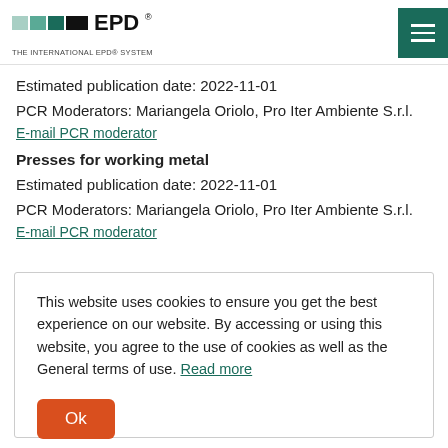EPD® THE INTERNATIONAL EPD® SYSTEM
Estimated publication date: 2022-11-01
PCR Moderators: Mariangela Oriolo, Pro Iter Ambiente S.r.l.
E-mail PCR moderator
Presses for working metal
Estimated publication date: 2022-11-01
PCR Moderators: Mariangela Oriolo, Pro Iter Ambiente S.r.l.
E-mail PCR moderator
This website uses cookies to ensure you get the best experience on our website. By accessing or using this website, you agree to the use of cookies as well as the General terms of use. Read more
Ok